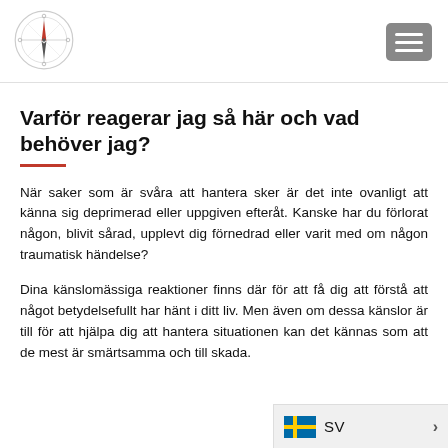[Figure (logo): Compass logo in a circle]
Varför reagerar jag så här och vad behöver jag?
När saker som är svåra att hantera sker är det inte ovanligt att känna sig deprimerad eller uppgiven efteråt. Kanske har du förlorat någon, blivit sårad, upplevt dig förnedrad eller varit med om någon traumatisk händelse?
Dina känslomässiga reaktioner finns där för att få dig att förstå att något betydelsefullt har hänt i ditt liv. Men även om dessa känslor är till för att hjälpa dig att hantera situationen kan det kännas som att de mest är smärtsamma och till skada.
[Figure (other): Swedish flag language selector showing SV with a right arrow]